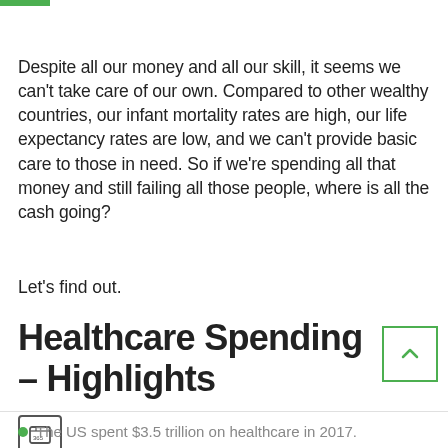Despite all our money and all our skill, it seems we can't take care of our own. Compared to other wealthy countries, our infant mortality rates are high, our life expectancy rates are low, and we can't provide basic care to those in need. So if we're spending all that money and still failing all those people, where is all the cash going?
Let's find out.
Healthcare Spending – Highlights
The US spent $3.5 trillion on healthcare in 2017.